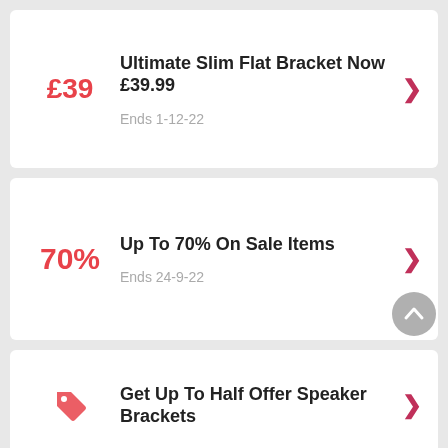£39 — Ultimate Slim Flat Bracket Now £39.99 — Ends 1-12-22
70% — Up To 70% On Sale Items — Ends 24-9-22
Get Up To Half Offer Speaker Brackets